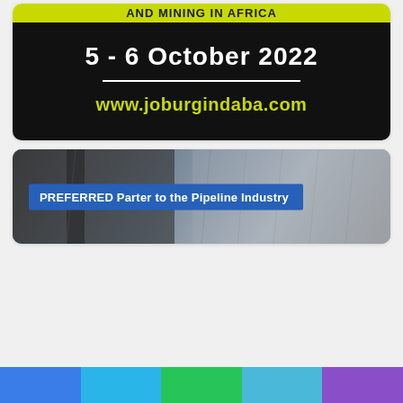[Figure (infographic): Joburg Indaba event card with green banner at top showing AND MINING IN AFRICA text, black panel with date 5 - 6 October 2022, horizontal white divider line, and green URL www.joburgindaba.com]
[Figure (photo): Photo banner with blue overlay text PREFERRED Parter to the Pipeline Industry, background shows a person in dark clothing]
[Figure (infographic): Colored bar strip at bottom with five color segments: blue, light blue, green, cyan, purple]